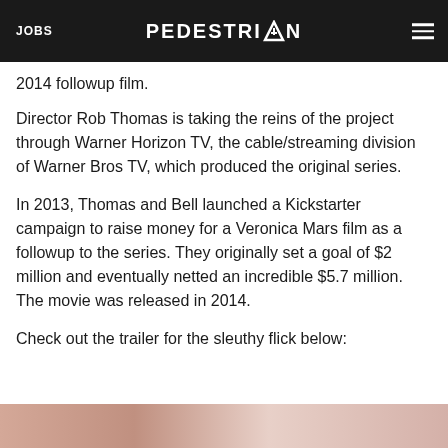JOBS  PEDESTRIAN  ☰
2014 followup film.
Director Rob Thomas is taking the reins of the project through Warner Horizon TV, the cable/streaming division of Warner Bros TV, which produced the original series.
In 2013, Thomas and Bell launched a Kickstarter campaign to raise money for a Veronica Mars film as a followup to the series. They originally set a goal of $2 million and eventually netted an incredible $5.7 million. The movie was released in 2014.
Check out the trailer for the sleuthy flick below:
[Figure (photo): Partial image at bottom of page, appears to show a person, cropped.]